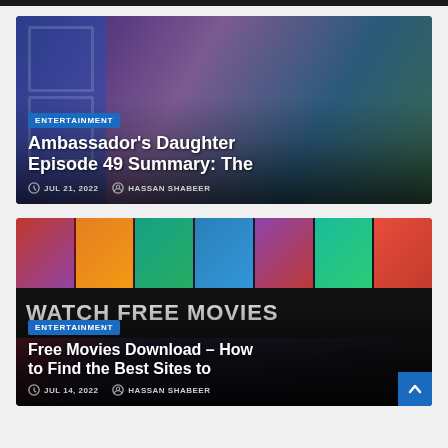[Figure (photo): Woman with dark hair against blue door background, entertainment article card with title Ambassador's Daughter Episode 49 Summary: The]
Ambassador's Daughter Episode 49 Summary: The
JUL 21, 2022   HASSAN SHABEER
[Figure (screenshot): Movie streaming website screenshot showing thumbnails row and Watch Free Movies text overlay]
Free Movies Download – How to Find the Best Sites to
JUL 14, 2022   HASSAN SHABEER